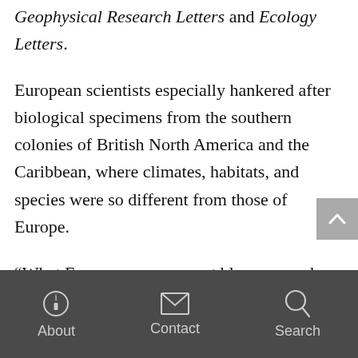Geophysical Research Letters and Ecology Letters.
European scientists especially hankered after biological specimens from the southern colonies of British North America and the Caribbean, where climates, habitats, and species were so different from those of Europe.
“What Europeans were most blown away by was the stuff in America that was not like what they would see in Europe,” says Mancke. Descriptions
About  Contact  Search